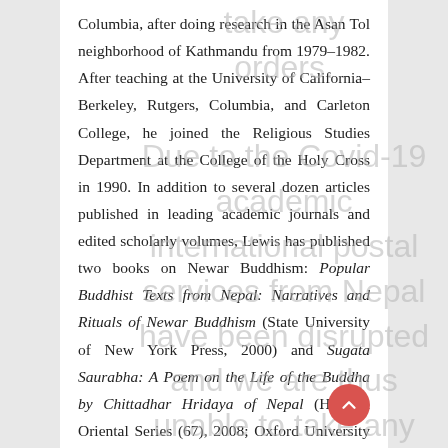Columbia, after doing research in the Asan Tol neighborhood of Kathmandu from 1979–1982. After teaching at the University of California–Berkeley, Rutgers, Columbia, and Carleton College, he joined the Religious Studies Department at the College of the Holy Cross in 1990. In addition to several dozen articles published in leading academic journals and edited scholarly volumes, Lewis has published two books on Newar Buddhism: Popular Buddhist Texts from Nepal: Narratives and Rituals of Newar Buddhism (State University of New York Press, 2000) and Sugata Saurabha: A Poem on the Life of the Buddha by Chittadhar Hridaya of Nepal (Harvard Oriental Series (67), 2008; Oxford University Press, 2010), in